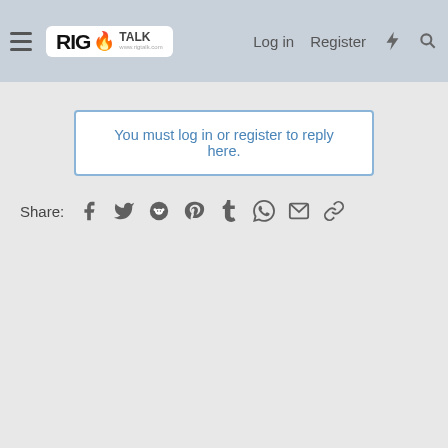RIG TALK — Log in | Register
You must log in or register to reply here.
Share: